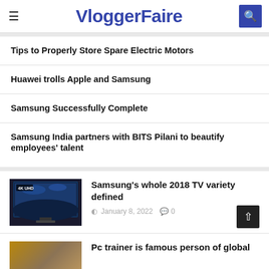VloggerFaire
Tips to Properly Store Spare Electric Motors
Huawei trolls Apple and Samsung
Samsung Successfully Complete
Samsung India partners with BITS Pilani to beautify employees' talent
Samsung's whole 2018 TV variety defined
January 8, 2022   0
Pc trainer is famous person of global